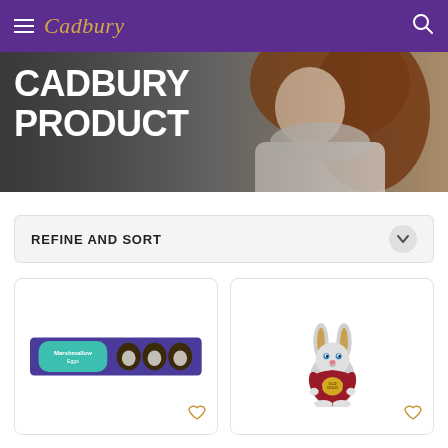Cadbury
CADBURY PRODUCT
REFINE AND SORT
[Figure (photo): Cadbury Marshmallow Eggs bar product image]
[Figure (photo): Cadbury Old Gold bunny foil-wrapped chocolate figure]